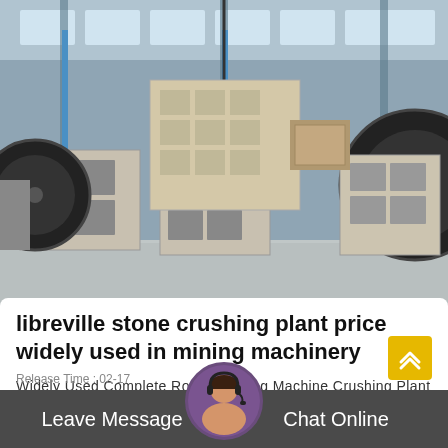[Figure (photo): Industrial factory floor showing multiple large stone crushing/jaw crusher machines arranged in rows inside a warehouse with steel frame structure, overhead cranes, and large windows providing natural light. Machines are beige/grey colored with large black flywheels.]
libreville stone crushing plant price widely used in mining machinery
Widely Used Complete Rock Crushing Machine Crushing Plant Jaw Crusher Machine Mobile Stone Cone Crusher Energy & Mining AC Motor, 00 - 30000 / Set,...
Release Time : 02-17